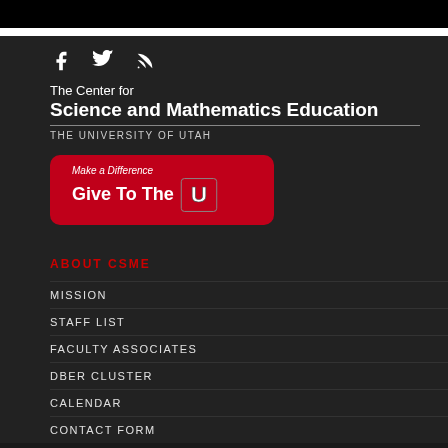[Figure (logo): Social media icons: Facebook, Twitter, RSS feed]
The Center for Science and Mathematics Education THE UNIVERSITY OF UTAH
[Figure (logo): Red button: Make a Difference Give To The U (University of Utah logo)]
ABOUT CSME
MISSION
STAFF LIST
FACULTY ASSOCIATES
DBER CLUSTER
CALENDAR
CONTACT FORM